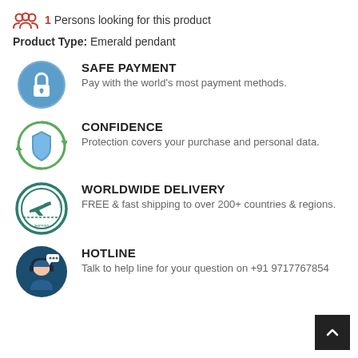1 Persons looking for this product
Product Type: Emerald pendant
[Figure (illustration): Blue circle with white lock icon representing safe payment]
SAFE PAYMENT
Pay with the world's most payment methods.
[Figure (illustration): Green circular arrows around a blue shield icon representing confidence]
CONFIDENCE
Protection covers your purchase and personal data.
[Figure (illustration): Worldwide shipping stamp/badge icon with airplane]
WORLDWIDE DELIVERY
FREE & fast shipping to over 200+ countries & regions.
[Figure (illustration): Customer support agent with headset icon for hotline]
HOTLINE
Talk to help line for your question on +91 9717767854